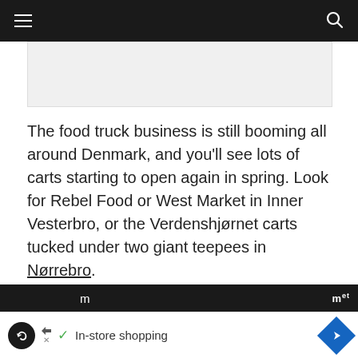Navigation bar with hamburger menu and search icon
[Figure (photo): Light gray image placeholder rectangle]
The food truck business is still booming all around Denmark, and you’ll see lots of carts starting to open again in spring. Look for Rebel Food or West Market in Inner Vesterbro, or the Verdenshjørnet carts tucked under two giant teepees in Nørrebro.
The weekend food market in the Meatpacking District opens for the summer season at the end
Ad: In-store shopping